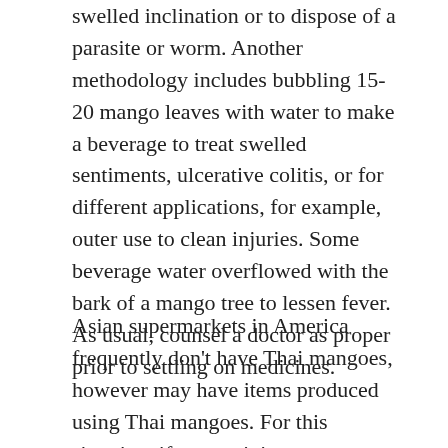swelled inclination or to dispose of a parasite or worm. Another methodology includes bubbling 15-20 mango leaves with water to make a beverage to treat swelled sentiments, ulcerative colitis, or for different applications, for example, outer use to clean injuries. Some beverage water overflowed with the bark of a mango tree to lessen fever. As usual, counsel a doctor as proper prior to settling on medicines.
Asian supermarkets in America frequently don't have Thai mangoes, however may have items produced using Thai mangoes. For this situation, if mango juice or mangoes with tacky rice sound engaging this mid year, mangoes from the Philippines or Mexico are your best substitute. Costco frequently offers Mexican mangoes – hold on